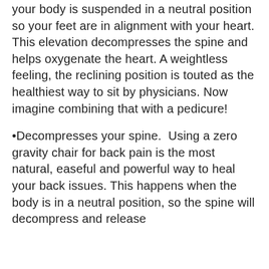your body is suspended in a neutral position so your feet are in alignment with your heart. This elevation decompresses the spine and helps oxygenate the heart. A weightless feeling, the reclining position is touted as the healthiest way to sit by physicians. Now imagine combining that with a pedicure!
•Decompresses your spine.  Using a zero gravity chair for back pain is the most natural, easeful and powerful way to heal your back issues. This happens when the body is in a neutral position, so the spine will decompress and release